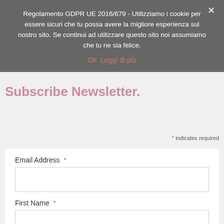Regolamento GDPR UE 2016/679 - Utilizziamo i cookie per essere sicuri che tu possa avere la migliore esperienza sul nostro sito. Se continui ad utilizzare questo sito noi assumiamo che tu ne sia felice.
Ok   Leggi di più
Subscribe Newsletter.
* indicates required
Email Address *
First Name *
Last Name *
SUBSCRIBE